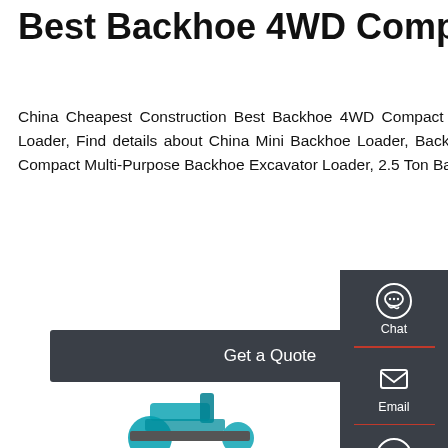Best Backhoe 4WD Compact Multi
China Cheapest Construction Best Backhoe 4WD Compact Multi-Purpose Backhoe Excavator Loader, 2.5 Ton Backhoe Loader, Find details about China Mini Backhoe Loader, Backhoe Loader from Cheapest Construction Best Backhoe 4WD Compact Multi-Purpose Backhoe Excavator Loader, 2.5 Ton Backhoe Loader - Shandong LEITE machinery Co., Ltd.
Get a Quote
[Figure (screenshot): Sidebar with Chat, Email, and Contact icons on dark background]
[Figure (photo): Partial view of a teal/turquoise backhoe loader machine at bottom of page]